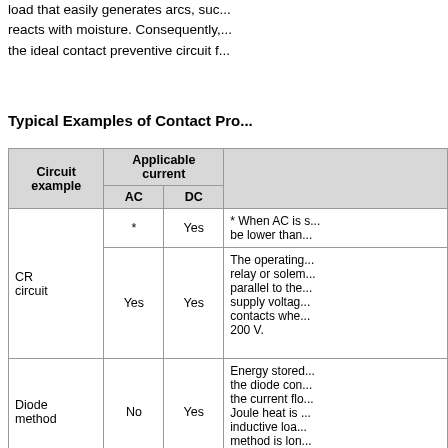load that easily generates arcs, such as a inductive load that reacts with moisture. Consequently, this method is not the ideal contact preventive circuit f...
Typical Examples of Contact Pro...
| Circuit example | Applicable current AC | Applicable current DC | Notes |
| --- | --- | --- | --- |
| CR circuit | * | Yes | * When AC is ... be lower than ... |
| CR circuit | Yes | Yes | The operating ... relay or solem... parallel to the... supply voltage... contacts whe... 200 V. |
| Diode method | No | Yes | Energy stored... the diode con... the current flo... Joule heat is ... inductive loa... method is lon... |
| Diode and Zener | No | Yes | This method v... |